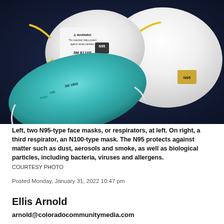[Figure (photo): Three N95/N100-type respirator face masks arranged on a dark navy surface. Two white masks (including a 3M 8110S) and one teal/turquoise mask (3M 1860). The teal mask is in the foreground-left, the white 3M 8110S with warning label is at center-left, and a larger white N100-type mask is at right.]
Left, two N95-type face masks, or respirators, at left. On right, a third respirator, an N100-type mask. The N95 protects against matter such as dust, aerosols and smoke, as well as biological particles, including bacteria, viruses and allergens.
COURTESY PHOTO
Posted Monday, January 31, 2022 10:47 pm
Ellis Arnold
arnold@coloradocommunitymedia.com